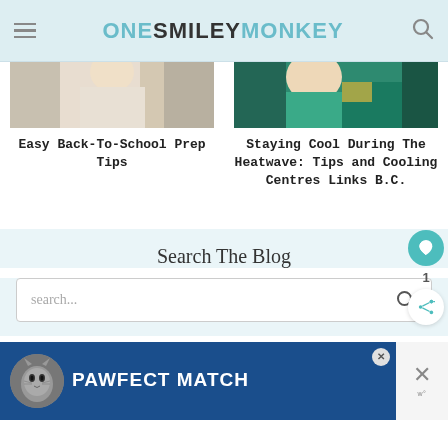ONE SMILEY MONKEY
[Figure (photo): Partial photo of person with light background (back to school article image)]
Easy Back-To-School Prep Tips
[Figure (photo): Partial photo of woman in green top holding something (heatwave article image)]
Staying Cool During The Heatwave: Tips and Cooling Centres Links B.C.
Search The Blog
[Figure (screenshot): Search input box with placeholder text 'search...' and a search icon]
[Figure (photo): Advertisement banner: PAWFECT MATCH with cat image on blue background]